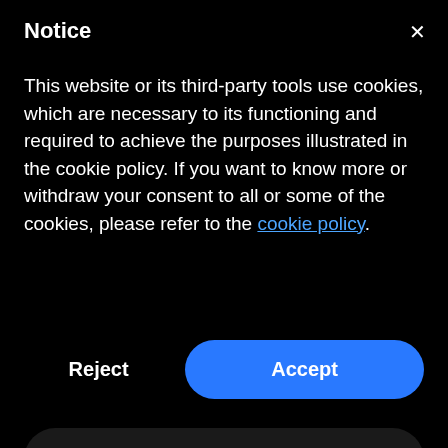Notice
This website or its third-party tools use cookies, which are necessary to its functioning and required to achieve the purposes illustrated in the cookie policy. If you want to know more or withdraw your consent to all or some of the cookies, please refer to the cookie policy.
Reject
Accept
Show purposes
TOP
Red Hat, RHCSA, RHCA, RHEL, Red Hat Certified Engineer and RHCE are trademarks or registered trademarks of Red Hat Inc. These videos, nor its maker are affiliated with the trademark owner.